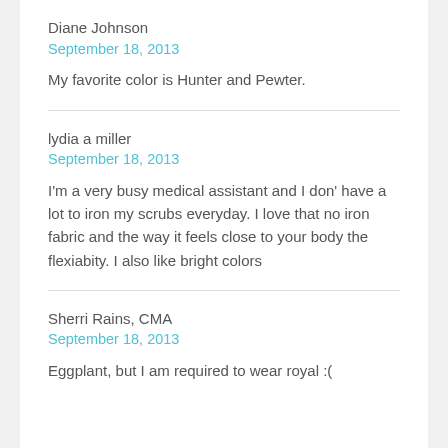Diane Johnson
September 18, 2013
My favorite color is Hunter and Pewter.
lydia a miller
September 18, 2013
I'm a very busy medical assistant and I don' have a lot to iron my scrubs everyday. I love that no iron fabric and the way it feels close to your body the flexiabity. I also like bright colors
Sherri Rains, CMA
September 18, 2013
Eggplant, but I am required to wear royal :(